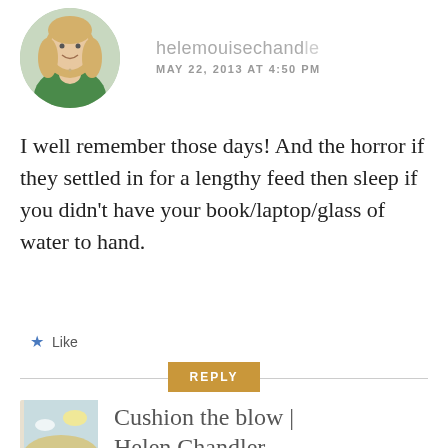[Figure (photo): Circular avatar photo of a blonde woman in a green top, smiling]
helemouisechand...
MAY 22, 2013 AT 4:50 PM
I well remember those days! And the horror if they settled in for a lengthy feed then sleep if you didn't have your book/laptop/glass of water to hand.
★ Like
REPLY
[Figure (photo): Book cover of 'Unhooking from a Modern Marriage' by Helen Chandler]
Cushion the blow | Helen Chandler
JUNE 19, 2013 AT 10:59 AM